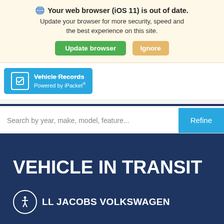Your web browser (iOS 11) is out of date. Update your browser for more security, speed and the best experience on this site. Update browser Ignore
[Figure (screenshot): iPacket Vehicle Records banner with blue background and Powered by iPacket logo]
Search by year, make, model, feature...
Refine
VEHICLE IN TRANSIT
LL JACOBS VOLKSWAGEN